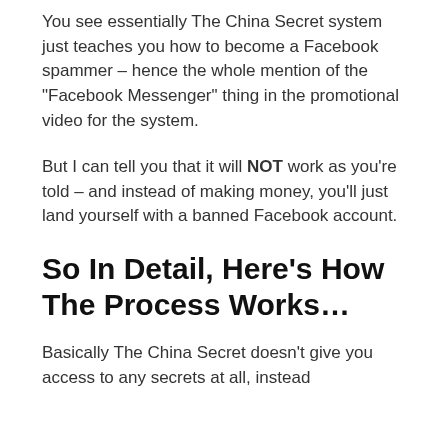You see essentially The China Secret system just teaches you how to become a Facebook spammer – hence the whole mention of the “Facebook Messenger” thing in the promotional video for the system.
But I can tell you that it will NOT work as you’re told – and instead of making money, you’ll just land yourself with a banned Facebook account.
So In Detail, Here’s How The Process Works…
Basically The China Secret doesn’t give you access to any secrets at all, instead